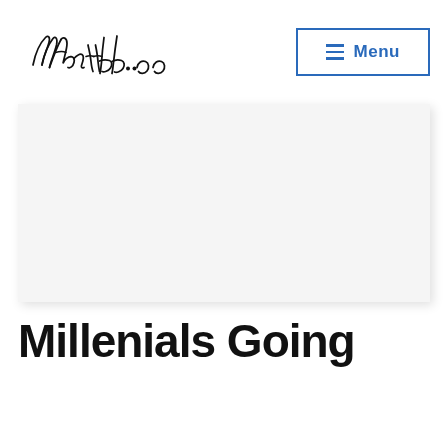AaronLee.co | Menu
[Figure (photo): Blank white hero image placeholder on a light gray background with subtle shadow]
Millenials Going